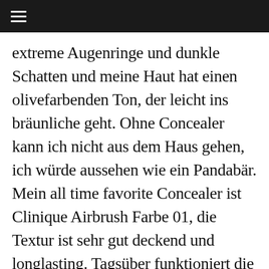☰
extreme Augenringe und dunkle Schatten und meine Haut hat einen olivefarbenden Ton, der leicht ins bräunliche geht. Ohne Concealer kann ich nicht aus dem Haus gehen, ich würde aussehen wie ein Pandabär. Mein all time favorite Concealer ist Clinique Airbrush Farbe 01, die Textur ist sehr gut deckend und longlasting. Tagsüber funktioniert die helle Farbe perfekt und gleicht die Schatten wunderbar aus aber durch die lichtreflekltierenden Pigmente in